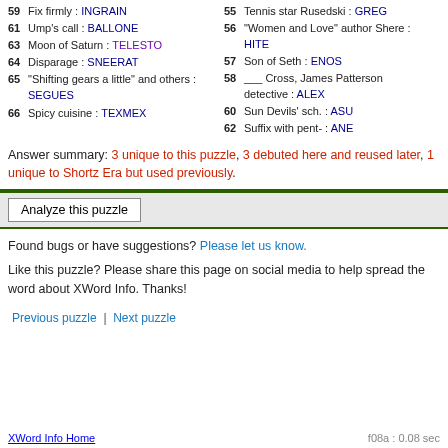59 Fix firmly : INGRAIN
61 Ump's call : BALLONE
63 Moon of Saturn : TELESTO
64 Disparage : SNEERAT
65 "Shifting gears a little" and others : SEGUES
66 Spicy cuisine : TEXMEX
55 Tennis star Rusedski : GREG
56 "Women and Love" author Shere : HITE
57 Son of Seth : ENOS
58 ___ Cross, James Patterson detective : ALEX
60 Sun Devils' sch. : ASU
62 Suffix with pent- : ANE
Answer summary: 3 unique to this puzzle, 3 debuted here and reused later, 1 unique to Shortz Era but used previously.
Found bugs or have suggestions? Please let us know.
Like this puzzle? Please share this page on social media to help spread the word about XWord Info. Thanks!
Previous puzzle   |   Next puzzle
XWord Info Home                                        f08a : 0.08 sec